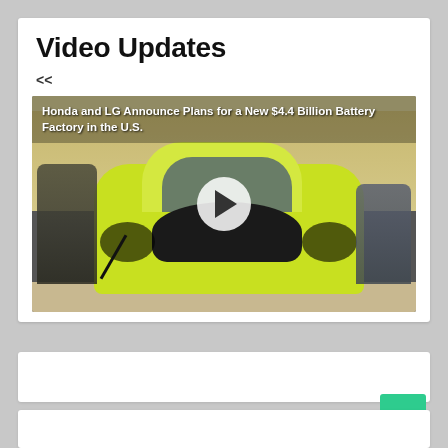Video Updates
<<
[Figure (screenshot): Video thumbnail showing a yellow-green Honda electric car (Honda e) at an event, with people standing around it, and a play button overlay. Title text on video: 'Honda and LG Announce Plans for a New $4.4 Billion Battery Factory in the U.S.']